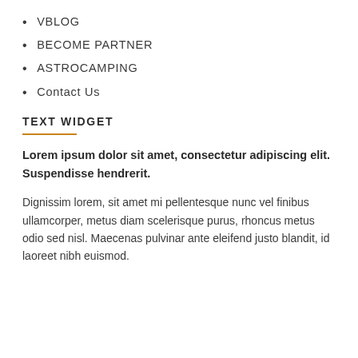VBLOG
BECOME PARTNER
ASTROCAMPING
Contact Us
TEXT WIDGET
Lorem ipsum dolor sit amet, consectetur adipiscing elit. Suspendisse hendrerit.
Dignissim lorem, sit amet mi pellentesque nunc vel finibus ullamcorper, metus diam scelerisque purus, rhoncus metus odio sed nisl. Maecenas pulvinar ante eleifend justo blandit, id laoreet nibh euismod.